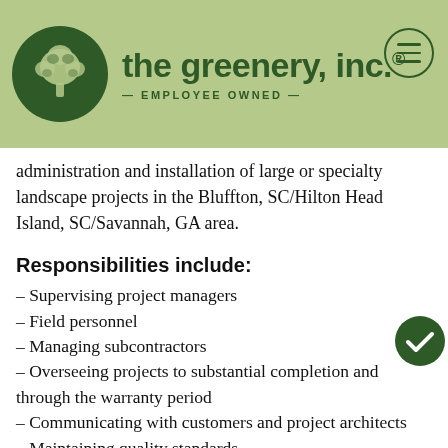[Figure (logo): The Greenery, Inc. logo with tree icon and 'Employee Owned' tagline on a sage green header bar]
administration and installation of large or specialty landscape projects in the Bluffton, SC/Hilton Head Island, SC/Savannah, GA area.
Responsibilities include:
– Supervising project managers
– Field personnel
– Managing subcontractors
– Overseeing projects to substantial completion and through the warranty period
– Communicating with customers and project architects
– Maintaining quality standards.
Other duties include: